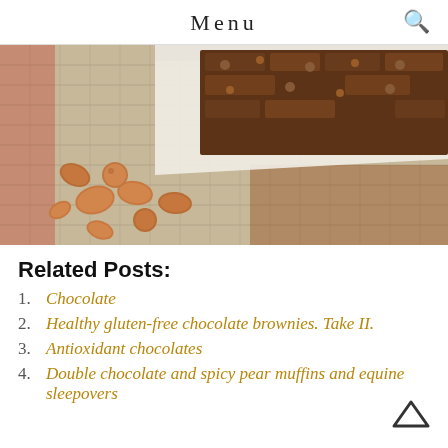Menu
[Figure (photo): Photo of chocolate brownies in a white baking dish with almonds/hazelnuts scattered on a burlap surface]
Related Posts:
1. Chocolate
2. Healthy gluten-free chocolate brownies. Take II.
3. Antioxidant chocolates
4. Double chocolate and spicy pear muffins and equine sleepovers